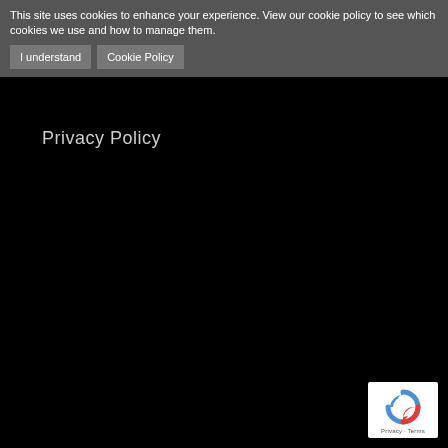This site uses cookies to enhance your experience. View our cookie policy to see which cookies we use and how to manage them. I understand Cookie Policy
Privacy Policy
[Figure (logo): Google reCAPTCHA badge with circular arrow logo and 'Privacy - Terms' text]